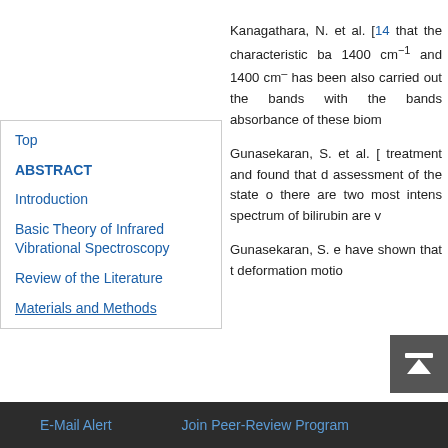Kanagathara, N. et al. [14 that the characteristic ba 1400 cm−1 and 1400 cm− has been also carried out the bands with the bands absorbance of these biom
Gunasekaran, S. et al. [ treatment and found that d assessment of the state o there are two most intens spectrum of bilirubin are v
Gunasekaran, S. e have shown that t deformation motio
Top
ABSTRACT
Introduction
Basic Theory of Infrared Vibrational Spectroscopy
Review of the Literature
Materials and Methods
E-Mail Alert    Join Peer-Review Program